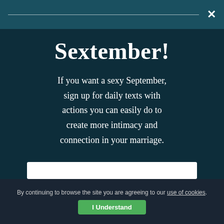×
Sextember!
If you want a sexy September, sign up for daily texts with actions you can easily do to create more intimacy and connection in your marriage.
By continuing to browse the site you are agreeing to our use of cookies. I Understand